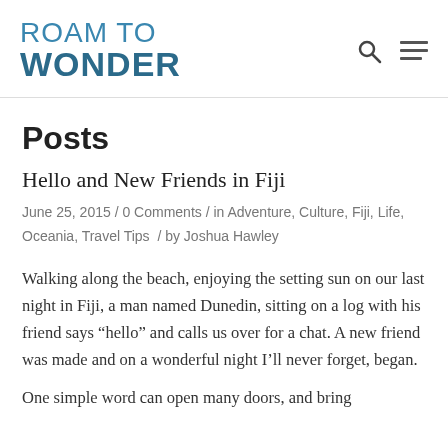ROAM TO WONDER
Posts
Hello and New Friends in Fiji
June 25, 2015 / 0 Comments / in Adventure, Culture, Fiji, Life, Oceania, Travel Tips / by Joshua Hawley
Walking along the beach, enjoying the setting sun on our last night in Fiji, a man named Dunedin, sitting on a log with his friend says “hello” and calls us over for a chat. A new friend was made and on a wonderful night I’ll never forget, began.
One simple word can open many doors, and bring